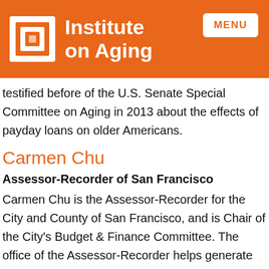[Figure (logo): Institute on Aging logo with orange header bar, white square logo mark, and MENU button]
testified before of the U.S. Senate Special Committee on Aging in 2013 about the effects of payday loans on older Americans.
Carmen Chu
Assessor-Recorder of San Francisco
Carmen Chu is the Assessor-Recorder for the City and County of San Francisco, and is Chair of the City's Budget & Finance Committee. The office of the Assessor-Recorder helps generate over one-third of the City's General Fund revenue, which is used to